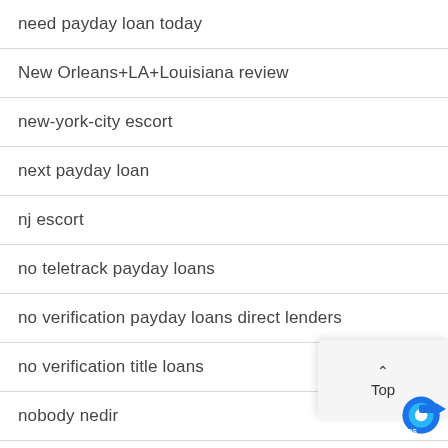need payday loan today
New Orleans+LA+Louisiana review
new-york-city escort
next payday loan
nj escort
no teletrack payday loans
no verification payday loans direct lenders
no verification title loans
nobody nedir